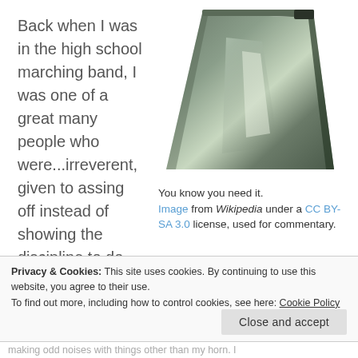Back when I was in the high school marching band, I was one of a great many people who were...irreverent, given to assing off instead of showing the discipline to do
[Figure (photo): A shiny metal cowbell viewed from the open end, showing its trapezoidal shape and reflective surface.]
You know you need it. Image from Wikipedia under a CC BY-SA 3.0 license, used for commentary.
Privacy & Cookies: This site uses cookies. By continuing to use this website, you agree to their use. To find out more, including how to control cookies, see here: Cookie Policy
making odd noises with things other than my horn. I